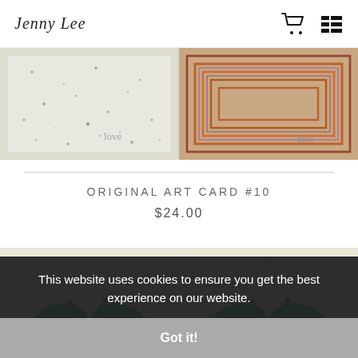Jenny Lee logo, cart icon, menu icon
[Figure (photo): Two art cards side by side: left card shows speckled cream/white texture with handwritten 'love' script; right card shows orange and purple abstract layered pattern with handwritten 'love' script]
ORIGINAL ART CARD #10
$24.00
[Figure (photo): Two views of an art card featuring a teal/turquoise butterfly painted on speckled cream textured paper]
This website uses cookies to ensure you get the best experience on our website.
Got it!